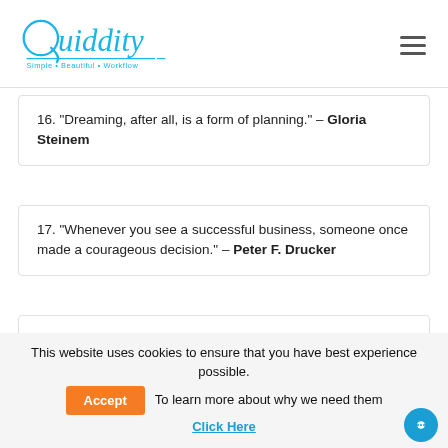Quiddity — Simple·Beautiful·Workflow
16. “Dreaming, after all, is a form of planning.” – Gloria Steinem
17. “Whenever you see a successful business, someone once made a courageous decision.” – Peter F. Drucker
18. “The best time to plant a tree was 20 years ago. The second best time is now.” – Chinese proverb
This website uses cookies to ensure that you have best experience possible. Accept   To learn more about why we need them   Click Here